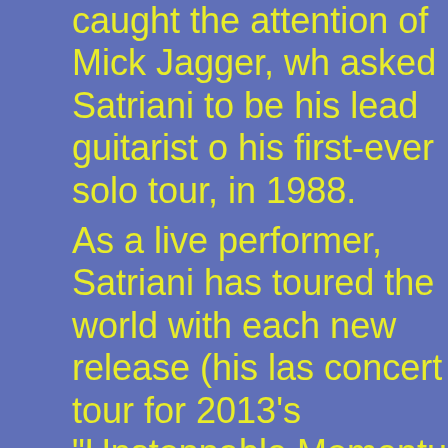caught the attention of Mick Jagger, who asked Satriani to be his lead guitarist on his first-ever solo tour, in 1988.
As a live performer, Satriani has toured the world with each new release (his last concert tour for 2013's "Unstoppable Momentum" saw the guitarist touch down in 32 countries). In 1993, he joined Deep Purple as a temporary replacement for Ritchie Blackmore during a Japanese to. In 1996, Satriani founded the multi-guitarist traveling experience called G3, which has seen him share stages with Y, Eric Johnson, Yngwie Malmsteen, Rob Fripp, among others. And starting in 20...